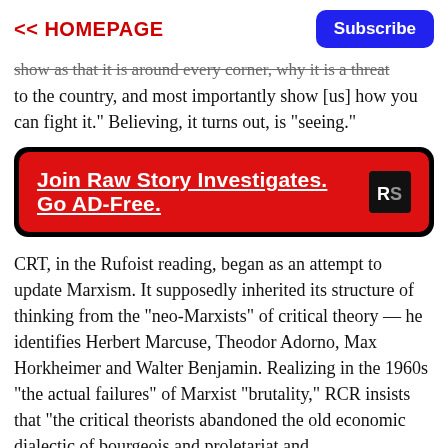<< HOMEPAGE | Subscribe
show as that it is around every corner, why it is a threat to the country, and most importantly show [us] how you can fight it." Believing, it turns out, is "seeing."
[Figure (other): Red advertisement banner with black border: 'Join Raw Story Investigates. Go AD-Free.' with RS logo]
CRT, in the Rufoist reading, began as an attempt to update Marxism. It supposedly inherited its structure of thinking from the "neo-Marxists" of critical theory — he identifies Herbert Marcuse, Theodor Adorno, Max Horkheimer and Walter Benjamin. Realizing in the 1960s "the actual failures" of Marxist "brutality," RCR insists that "the critical theorists abandoned the old economic dialectic of bourgeois and proletariat and